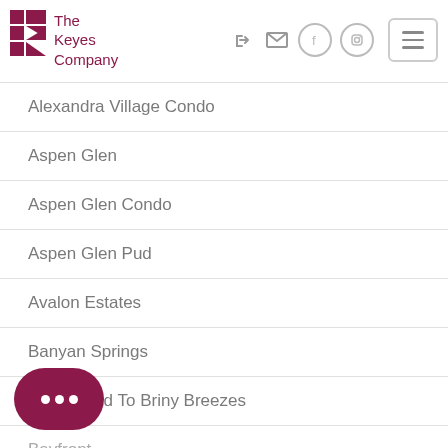[Figure (logo): The Keyes Company logo with stylized K in magenta/dark red and company name text]
Alexandra Village Condo
Aspen Glen
Aspen Glen Condo
Aspen Glen Pud
Avalon Estates
Banyan Springs
Baskin Add To Briny Breezes
Bayfront